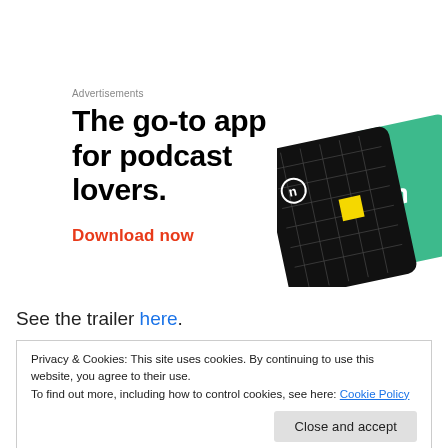Advertisements
[Figure (illustration): Advertisement for a podcast app featuring bold headline 'The go-to app for podcast lovers.' with a red 'Download now' CTA and images of phone/card UI elements on a black grid background and a green card.]
See the trailer here.
Privacy & Cookies: This site uses cookies. By continuing to use this website, you agree to their use.
To find out more, including how to control cookies, see here: Cookie Policy
Close and accept